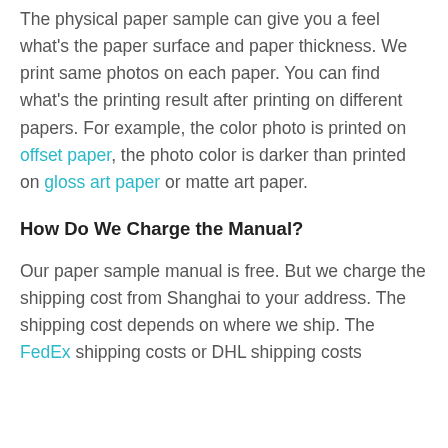The physical paper sample can give you a feel what's the paper surface and paper thickness. We print same photos on each paper. You can find what's the printing result after printing on different papers. For example, the color photo is printed on offset paper, the photo color is darker than printed on gloss art paper or matte art paper.
How Do We Charge the Manual?
Our paper sample manual is free. But we charge the shipping cost from Shanghai to your address. The shipping cost depends on where we ship. The FedEx shipping costs or DHL shipping costs